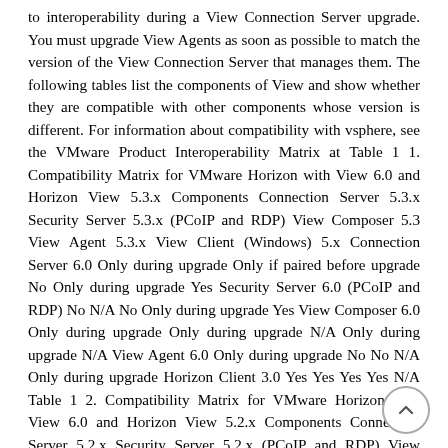to interoperability during a View Connection Server upgrade. You must upgrade View Agents as soon as possible to match the version of the View Connection Server that manages them. The following tables list the components of View and show whether they are compatible with other components whose version is different. For information about compatibility with vsphere, see the VMware Product Interoperability Matrix at Table 1 1. Compatibility Matrix for VMware Horizon with View 6.0 and Horizon View 5.3.x Components Connection Server 5.3.x Security Server 5.3.x (PCoIP and RDP) View Composer 5.3 View Agent 5.3.x View Client (Windows) 5.x Connection Server 6.0 Only during upgrade Only if paired before upgrade No Only during upgrade Yes Security Server 6.0 (PCoIP and RDP) No N/A No Only during upgrade Yes View Composer 6.0 Only during upgrade Only during upgrade N/A Only during upgrade N/A View Agent 6.0 Only during upgrade No No N/A Only during upgrade Horizon Client 3.0 Yes Yes Yes Yes N/A Table 1 2. Compatibility Matrix for VMware Horizon with View 6.0 and Horizon View 5.2.x Components Connection Server 5.2.x Security Server 5.2.x (PCoIP and RDP) View Composer 5.2 View Agent 5.2.x View Client (Windows) 5.x Connection